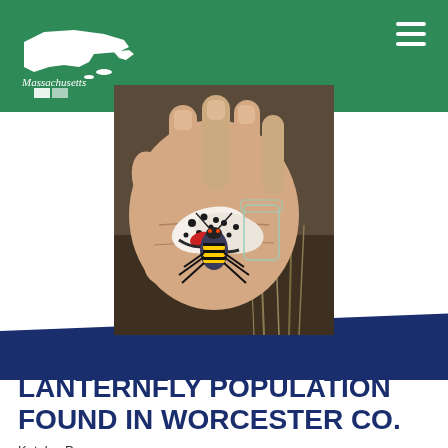Massachusetts [state logo]
[Figure (photo): A hand holding a spotted lanternfly insect, showing its distinctive spotted wings with red coloring and striped body against a natural outdoor background]
INVASIVE SPOTTED LANTERNFLY POPULATION FOUND IN WORCESTER CO.
Katelyn Parsons